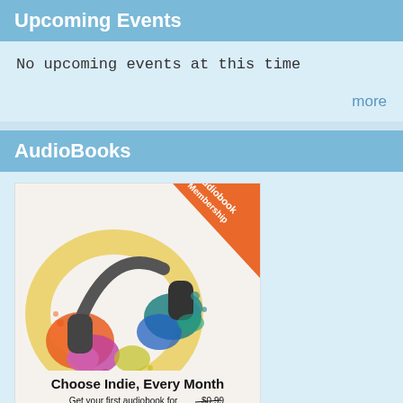Upcoming Events
No upcoming events at this time
more
AudioBooks
[Figure (illustration): Libro.fm Audiobook Membership advertisement showing colorful headphones with paint splatter, text 'Choose Indie, Every Month', 'Get your first audiobook for $0.99 FREE', and Libro.fm logo. Orange ribbon banner in top-right corner reads 'Audiobook Membership'.]